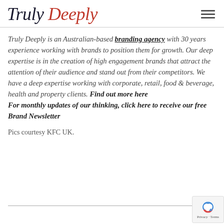Truly Deeply
Truly Deeply is an Australian-based branding agency with 30 years experience working with brands to position them for growth. Our deep expertise is in the creation of high engagement brands that attract the attention of their audience and stand out from their competitors. We have a deep expertise working with corporate, retail, food & beverage, health and property clients. Find out more here
For monthly updates of our thinking, click here to receive our free Brand Newsletter
Pics courtesy KFC UK.
Privacy · Terms